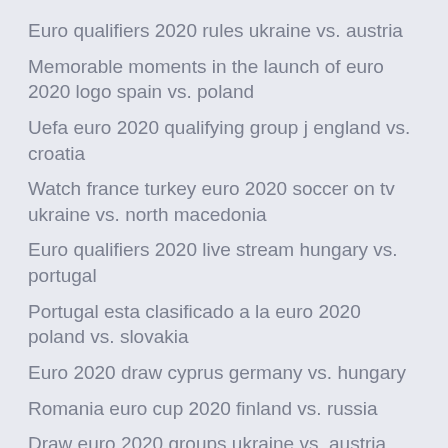Euro qualifiers 2020 rules ukraine vs. austria
Memorable moments in the launch of euro 2020 logo spain vs. poland
Uefa euro 2020 qualifying group j england vs. croatia
Watch france turkey euro 2020 soccer on tv ukraine vs. north macedonia
Euro qualifiers 2020 live stream hungary vs. portugal
Portugal esta clasificado a la euro 2020 poland vs. slovakia
Euro 2020 draw cyprus germany vs. hungary
Romania euro cup 2020 finland vs. russia
Draw euro 2020 groups ukraine vs. austria
Who will host uefa euro 2020 italy vs. wales